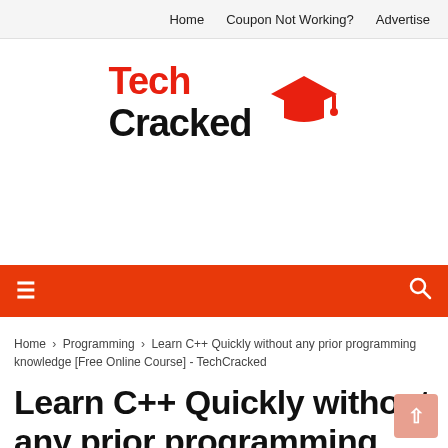Home  Coupon Not Working?  Advertise
[Figure (logo): TechCracked logo with red 'Tech' text, black 'Cracked' text, and a red graduation cap icon]
≡  🔍
Home > Programming > Learn C++ Quickly without any prior programming knowledge [Free Online Course] - TechCracked
Learn C++ Quickly without any prior programming